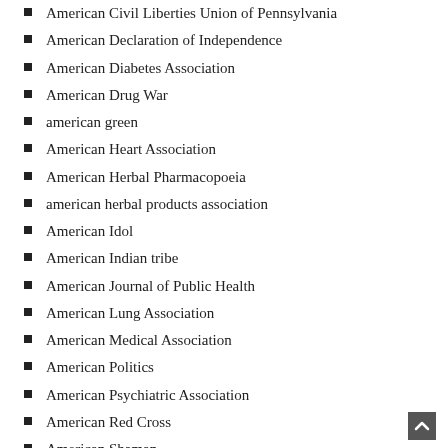American Civil Liberties Union of Pennsylvania
American Declaration of Independence
American Diabetes Association
American Drug War
american green
American Heart Association
American Herbal Pharmacopoeia
american herbal products association
American Idol
American Indian tribe
American Journal of Public Health
American Lung Association
American Medical Association
American Politics
American Psychiatric Association
American Red Cross
American Shaman
American Shaman Review
American Society for Testing and Materials (ASTM)
American Society of Anesthesiologists
American Trade Association for Cannabis and Hemp